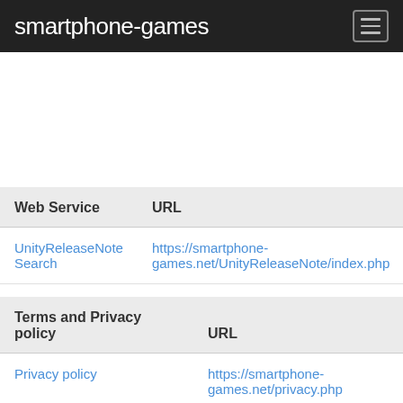smartphone-games
| Web Service | URL |
| --- | --- |
| UnityReleaseNote Search | https://smartphone-games.net/UnityReleaseNote/index.php |
| Terms and Privacy policy | URL |
| --- | --- |
| Privacy policy | https://smartphone-games.net/privacy.php |